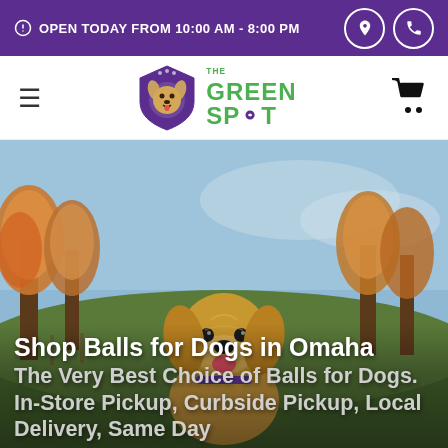OPEN TODAY FROM 10:00 AM - 8:00 PM
[Figure (logo): The Green Spot pet store logo - shield shape with dog face, green text reading THE GREEN SPOT]
Shop Balls for Dogs in Omaha
The Very Best Choice of Balls for Dogs. In-Store Pickup, Curbside Pickup, Local Delivery, Same Day